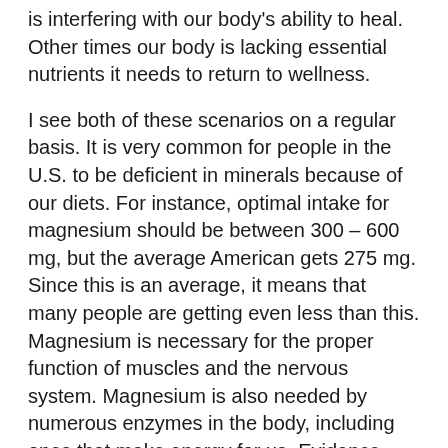is interfering with our body's ability to heal. Other times our body is lacking essential nutrients it needs to return to wellness.
I see both of these scenarios on a regular basis. It is very common for people in the U.S. to be deficient in minerals because of our diets. For instance, optimal intake for magnesium should be between 300 – 600 mg, but the average American gets 275 mg. Since this is an average, it means that many people are getting even less than this. Magnesium is necessary for the proper function of muscles and the nervous system. Magnesium is also needed by numerous enzymes in the body, including ones that make energy for us. Evidence suggests that magnesium deficiency can be linked to fatigue, depression, anxiety, insomnia, memory loss, muscle cramps and twitches, diabetic complications, and osteoporosis, to name some of the...